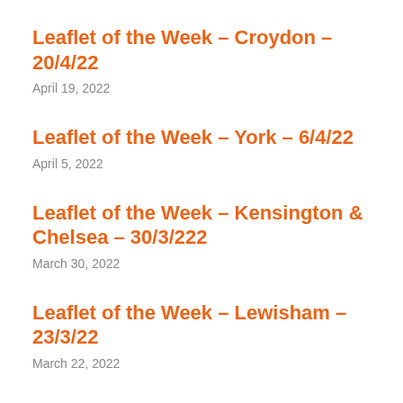Leaflet of the Week – Croydon – 20/4/22
April 19, 2022
Leaflet of the Week – York – 6/4/22
April 5, 2022
Leaflet of the Week – Kensington & Chelsea – 30/3/222
March 30, 2022
Leaflet of the Week – Lewisham – 23/3/22
March 22, 2022